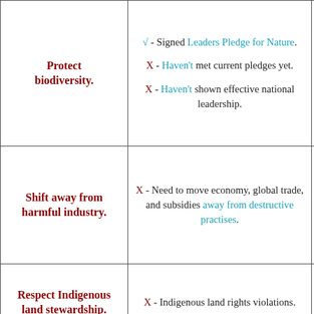| Goal | Status | Rating |
| --- | --- | --- |
| Protect biodiversity. | √ - Signed Leaders Pledge for Nature.

X - Haven't met current pledges yet.

X - Haven't shown effective national leadership. | N2 |
| Shift away from harmful industry. | X - Need to move economy, global trade, and subsidies away from destructive practises. |  |
| Respect Indigenous land stewardship. | X - Indigenous land rights violations. |  |